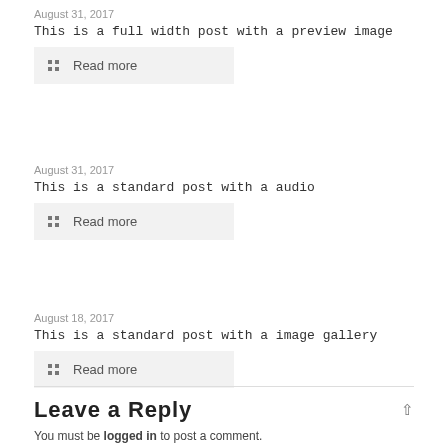August 31, 2017
This is a full width post with a preview image
Read more
August 31, 2017
This is a standard post with a audio
Read more
August 18, 2017
This is a standard post with a image gallery
Read more
Leave a Reply
You must be logged in to post a comment.